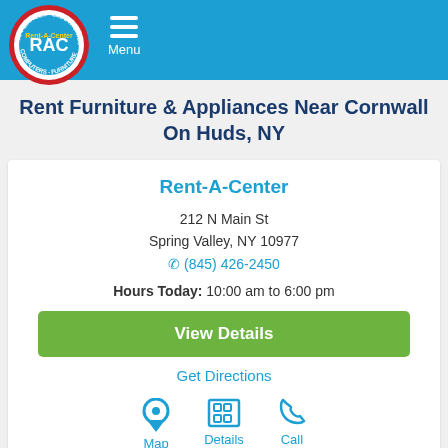Rent-A-Center Menu
Rent Furniture & Appliances Near Cornwall On Huds, NY
Rent-A-Center
212 N Main St
Spring Valley, NY 10977
(845) 426-2450
Hours Today: 10:00 am to 6:00 pm
View Details
Get Directions
Map
Details
Call